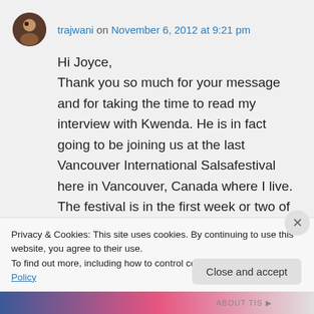trajwani on November 6, 2012 at 9:21 pm
Hi Joyce,
Thank you so much for your message and for taking the time to read my interview with Kwenda. He is in fact going to be joining us at the last Vancouver International Salsafestival here in Vancouver, Canada where I live. The festival is in the first week or two of March, 2013. I'm not sure where
Privacy & Cookies: This site uses cookies. By continuing to use this website, you agree to their use.
To find out more, including how to control cookies, see here: Cookie Policy
Close and accept